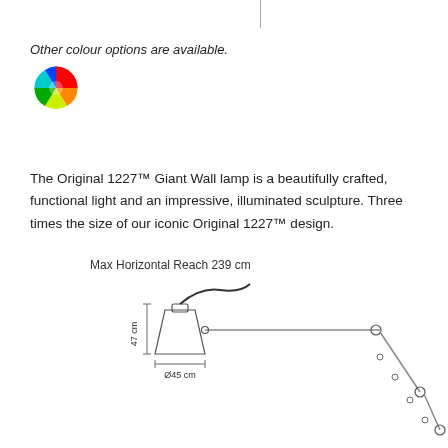Other colour options are available.
[Figure (illustration): Colour wheel icon showing multiple colours]
The Original 1227™ Giant Wall lamp is a beautifully crafted, functional light and an impressive, illuminated sculpture. Three times the size of our iconic Original 1227™ design.
Max Horizontal Reach 239 cm
[Figure (engineering-diagram): Technical line drawing of the Original 1227 Giant Wall lamp showing dimensions: 47 cm height, Ø45 cm diameter, with articulated arm extending to the right. The lamp head faces left, mounted on a wall bracket.]